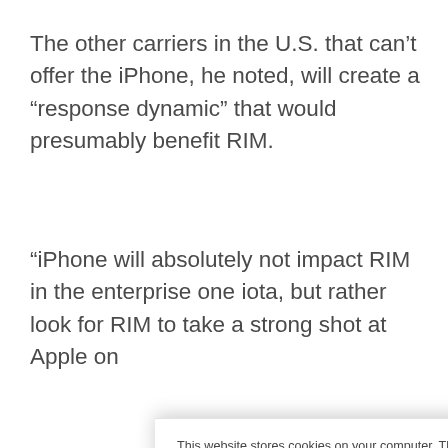The other carriers in the U.S. that can't offer the iPhone, he noted, will create a “response dynamic” that would presumably benefit RIM.
“iPhone will absolutely not impact RIM in the enterprise one iota, but rather look for RIM to take a strong shot at Apple on the consumer side if and when it comes” — (continuing, cut off)
This website stores cookies on your computer. These cookies are used to collect information about how you interact with our website and allow us to remember you. We use this information in order to improve and customize your browsing experience and for analytics and metrics about our visitors both on this website and other media. To find out more about the cookies we use, see our Privacy Policy. California residents have the right to direct us not to sell their personal information to third parties by filing an Opt-Out Request: Do Not Sell My Personal Info.
Accept